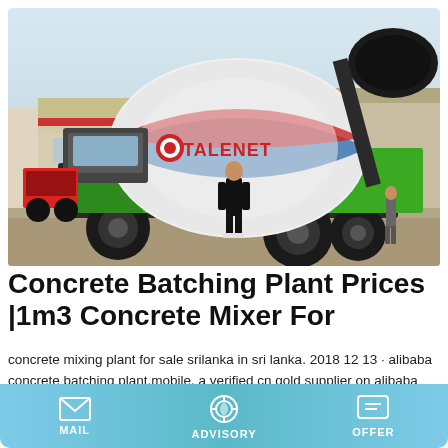[Figure (photo): A large green self-loading concrete mixer truck (branded TALENET) parked in an industrial yard. A person stands in front of the vehicle. Other machinery and a warehouse building are visible in the background.]
Concrete Batching Plant Prices |1m3 Concrete Mixer For
concrete mixing plant for sale srilanka in sri lanka. 2018 12 13 · alibaba concrete batching plant,mobile. a verified cn gold supplier on alibaba hot sale yhzs60 ready mixed mobile
MAIL   ADVISORY   OFFER